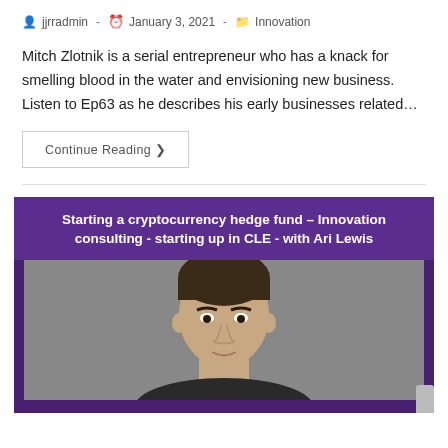jjrradmin · January 3, 2021 · Innovation
Mitch Zlotnik is a serial entrepreneur who has a knack for smelling blood in the water and envisioning new business. Listen to Ep63 as he describes his early businesses related…
Continue Reading ›
[Figure (photo): Thumbnail image for podcast episode: 'Starting a cryptocurrency hedge fund – Innovation consulting - starting up in CLE - with Ari Lewis', showing a young man's headshot on a purple background.]